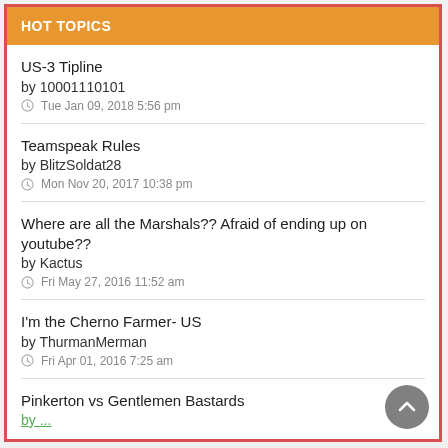HOT TOPICS
US-3 Tipline
by 10001110101
Tue Jan 09, 2018 5:56 pm
Teamspeak Rules
by BlitzSoldat28
Mon Nov 20, 2017 10:38 pm
Where are all the Marshals?? Afraid of ending up on youtube??
by Kactus
Fri May 27, 2016 11:52 am
I'm the Cherno Farmer- US
by ThurmanMerman
Fri Apr 01, 2016 7:25 am
Pinkerton vs Gentlemen Bastards
by ...